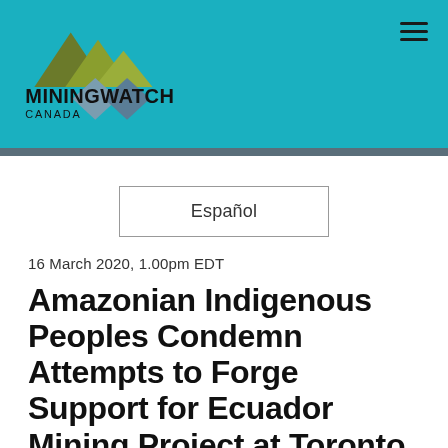[Figure (logo): MiningWatch Canada logo with mountain/diamond shapes on teal background]
Español
16 March 2020, 1.00pm EDT
Amazonian Indigenous Peoples Condemn Attempts to Forge Support for Ecuador Mining Project at Toronto Conference